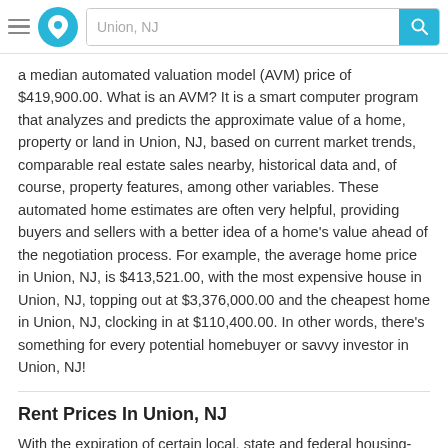Union, NJ
a median automated valuation model (AVM) price of $419,900.00. What is an AVM? It is a smart computer program that analyzes and predicts the approximate value of a home, property or land in Union, NJ, based on current market trends, comparable real estate sales nearby, historical data and, of course, property features, among other variables. These automated home estimates are often very helpful, providing buyers and sellers with a better idea of a home’s value ahead of the negotiation process. For example, the average home price in Union, NJ, is $413,521.00, with the most expensive house in Union, NJ, topping out at $3,376,000.00 and the cheapest home in Union, NJ, clocking in at $110,400.00. In other words, there’s something for every potential homebuyer or savvy investor in Union, NJ!
Rent Prices In Union, NJ
With the expiration of certain local, state and federal housing-related restrictions and mandated programs, the rental market